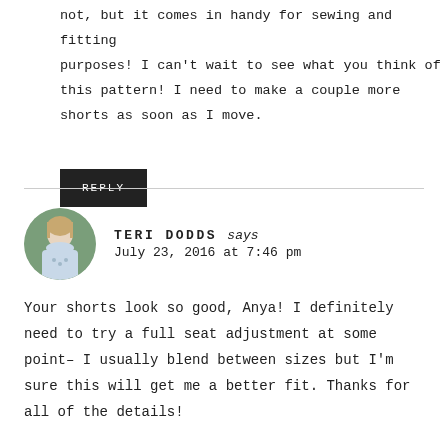not, but it comes in handy for sewing and fitting purposes! I can't wait to see what you think of this pattern! I need to make a couple more shorts as soon as I move.
REPLY
TERI DODDS says
July 23, 2016 at 7:46 pm
Your shorts look so good, Anya! I definitely need to try a full seat adjustment at some point– I usually blend between sizes but I'm sure this will get me a better fit. Thanks for all of the details!